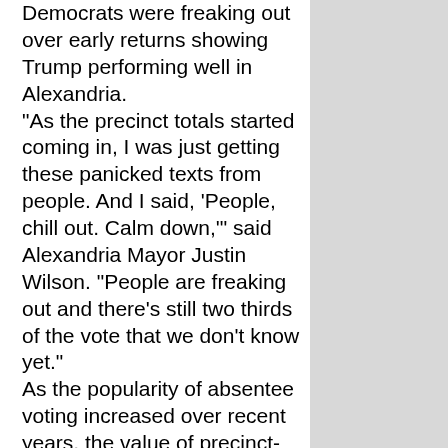Democrats were freaking out over early returns showing Trump performing well in Alexandria. "As the precinct totals started coming in, I was just getting these panicked texts from people. And I said, 'People, chill out. Calm down,'" said Alexandria Mayor Justin Wilson. "People are freaking out and there's still two thirds of the vote that we don't know yet." As the popularity of absentee voting increased over recent years, the value of precinct-level data suffered. After the pandemic caused voters to consider safety protocols, 80 percent of Alexandria voters cast an